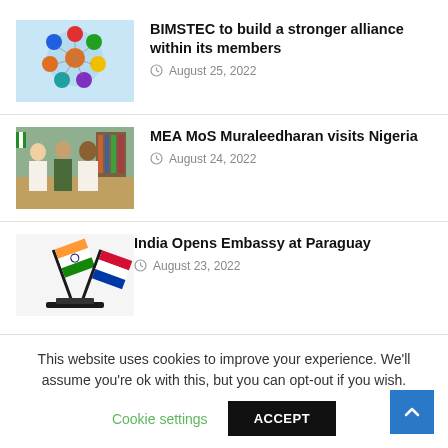[Figure (illustration): BIMSTEC logo illustration with colorful spheres/flags arranged in a circular pattern on blue background]
BIMSTEC to build a stronger alliance within its members
August 25, 2022
[Figure (photo): MEA MoS Muraleedharan with officials in Nigeria, group photo of people in white clothing]
MEA MoS Muraleedharan visits Nigeria
August 24, 2022
[Figure (illustration): India and Paraguay crossed flags illustration]
India Opens Embassy at Paraguay
August 23, 2022
This website uses cookies to improve your experience. We'll assume you're ok with this, but you can opt-out if you wish.
Cookie settings
ACCEPT